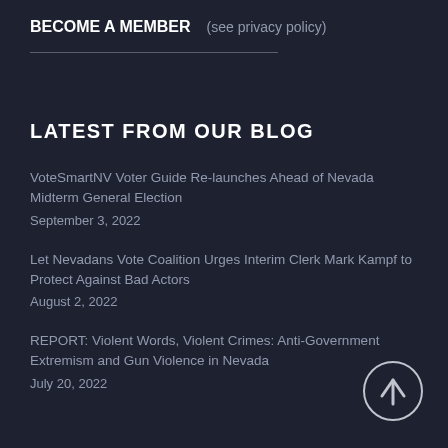BECOME A MEMBER (see privacy policy)
LATEST FROM OUR BLOG
VoteSmartNV Voter Guide Re-launches Ahead of Nevada Midterm General Election
September 3, 2022
Let Nevadans Vote Coalition Urges Interim Clerk Mark Kampf to Protect Against Bad Actors
August 2, 2022
REPORT: Violent Words, Violent Crimes: Anti-Government Extremism and Gun Violence in Nevada
July 20, 2022
[Figure (illustration): Circular scroll-to-top button with upward arrow icon]